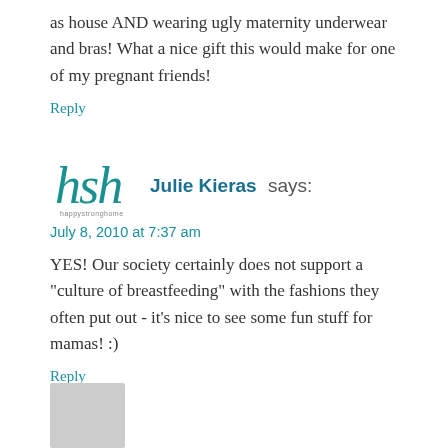as house AND wearing ugly maternity underwear and bras! What a nice gift this would make for one of my pregnant friends!
Reply
[Figure (logo): HSH happystronghome logo - stylized cursive hsh letters in teal]
Julie Kieras says:
July 8, 2010 at 7:37 am
YES! Our society certainly does not support a "culture of breastfeeding" with the fashions they often put out - it's nice to see some fun stuff for mamas! :)
Reply
[Figure (photo): Gray avatar placeholder image at bottom left]